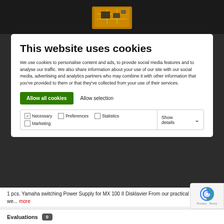[Figure (screenshot): Top portion of a webpage showing a PCB/hardware image partially visible at the top, with a cookie consent modal overlay on a dark background.]
This website uses cookies
We use cookies to personalise content and ads, to provide social media features and to analyse our traffic. We also share information about your use of our site with our social media, advertising and analytics partners who may combine it with other information that you've provided to them or that they've collected from your use of their services.
Allow all cookies   Allow selection
Necessary   Preferences   Statistics   Show details
Marketing
1 pcs. Yamaha switching Power Supply for MX 100 II Disklavier From our practical experience we... more
Evaluations 0